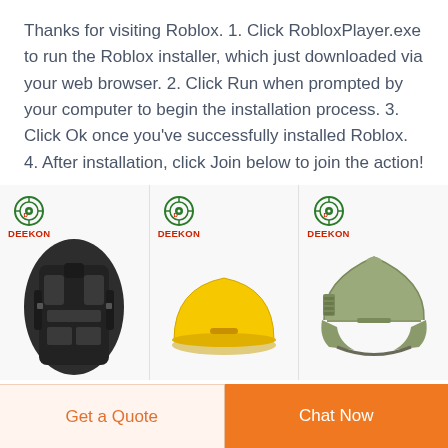Thanks for visiting Roblox. 1. Click RobloxPlayer.exe to run the Roblox installer, which just downloaded via your web browser. 2. Click Run when prompted by your computer to begin the installation process. 3. Click Ok once you've successfully installed Roblox. 4. After installation, click Join below to join the action!
READ MORE
[Figure (photo): Three product images with DEEKON logos: tactical vest/armor in black, yellow hard hat, and olive/tan military helmet (FAST helmet)]
Get a Quote
Chat Now